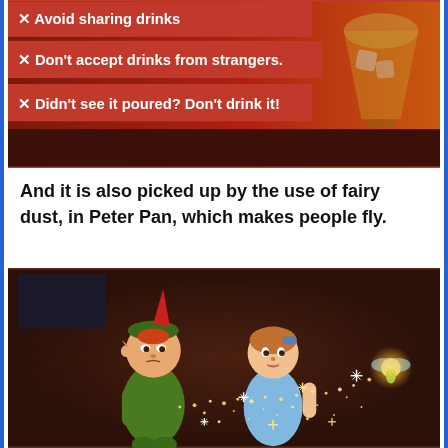[Figure (photo): Red banner with safety tips about drinks: 'Avoid sharing drinks', 'Don't accept drinks from strangers.', 'Didn't see it poured? Don't drink it!' with a background photo of alcoholic drinks]
And it is also picked up by the use of fairy dust, in Peter Pan, which makes people fly.
[Figure (photo): Disney animated scene from Peter Pan showing Peter Pan and Wendy with Tinkerbell sprinkling fairy dust/sparkles between them, set against a dark brown background]